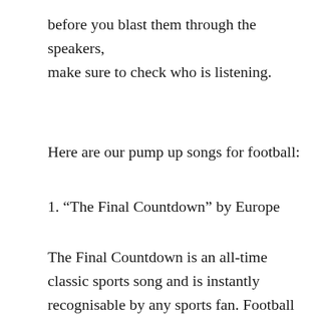before you blast them through the speakers, make sure to check who is listening.
Here are our pump up songs for football:
1. “The Final Countdown” by Europe
The Final Countdown is an all-time classic sports song and is instantly recognisable by any sports fan. Football fans especially are bound to love this song. It's been played at so